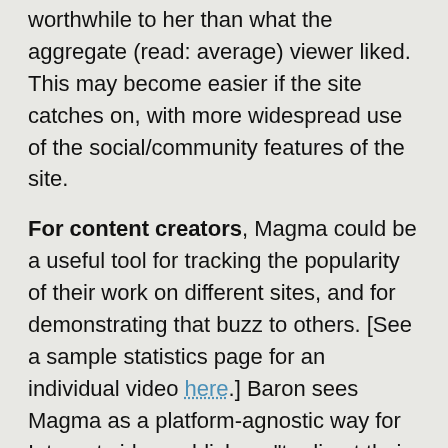worthwhile to her than what the aggregate (read: average) viewer liked. This may become easier if the site catches on, with more widespread use of the social/community features of the site.
For content creators, Magma could be a useful tool for tracking the popularity of their work on different sites, and for demonstrating that buzz to others. [See a sample statistics page for an individual video here.] Baron sees Magma as a platform-agnostic way for Internet video publishers "to direct their audience to show-off the most impressive viewpoint of surrounding buzz. (e.g. instead of sending their audience to a link on YouTube...)"
For prospective advertisers or sponsors of online video, (and for video producers, too), the statistical information generated by Magma is of great use and